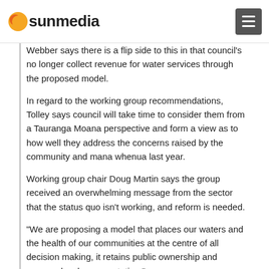sunmedia
Webber says there is a flip side to this in that council's no longer collect revenue for water services through the proposed model.
In regard to the working group recommendations, Tolley says council will take time to consider them from a Tauranga Moana perspective and form a view as to how well they address the concerns raised by the community and mana whenua last year.
Working group chair Doug Martin says the group received an overwhelming message from the sector that the status quo isn't working, and reform is needed.
“We are proposing a model that places our waters and the health of our communities at the centre of all decision making, it retains public ownership and ensures local representation.”
Mahuta says Cabinet will consider the working groups' recommendations before finalising reform plans and introducing legislation.